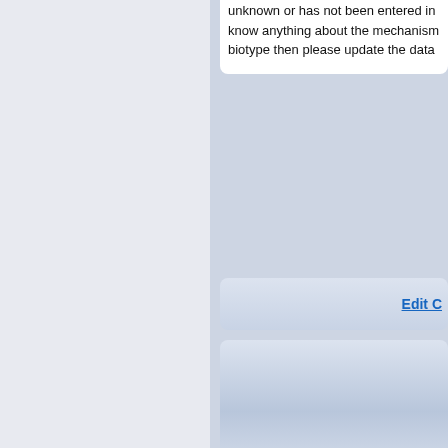unknown or has not been entered in know anything about the mechanism biotype then please update the data
Edit C
MARIE JASIENIUK
Assistant Professor
University Of California
Plant Sciences
614 7th Ave S. Apt 18
Davis, 95616-8780, California
United States
Email Marie Jasieniuk
Web : Web Site Link